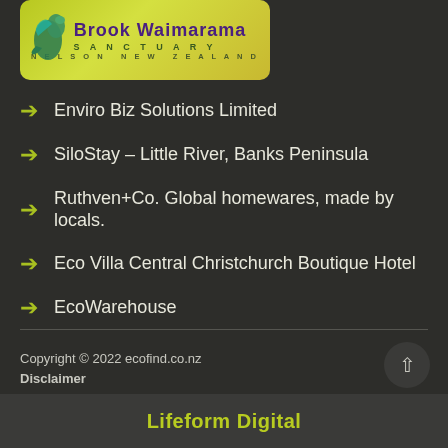[Figure (logo): Brook Waimarama Sanctuary logo - yellow-green banner with bird silhouette and text 'Brook Waimarama SANCTUARY NELSON NEW ZEALAND']
Enviro Biz Solutions Limited
SiloStay – Little River, Banks Peninsula
Ruthven+Co. Global homewares, made by locals.
Eco Villa Central Christchurch Boutique Hotel
EcoWarehouse
Copyright © 2022 ecofind.co.nz
Disclaimer
Lifeform Digital